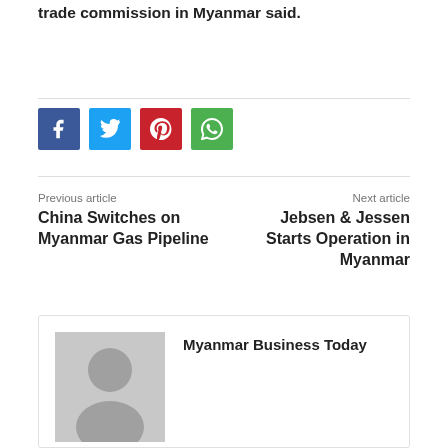trade commission in Myanmar said.
[Figure (infographic): Social sharing buttons: Facebook (blue), Twitter (light blue), Pinterest (red), WhatsApp (green)]
Previous article
China Switches on Myanmar Gas Pipeline
Next article
Jebsen & Jessen Starts Operation in Myanmar
[Figure (photo): Author avatar placeholder - grey silhouette of a person]
Myanmar Business Today